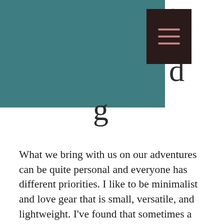[Figure (other): Teal/dark teal header banner block with a dark brown hamburger menu icon in the upper right area. Partial large serif letters are visible: 'at', 'd', and 'g' at the edges of the block.]
What we bring with us on our adventures can be quite personal and everyone has different priorities. I like to be minimalist and love gear that is small, versatile, and lightweight. I've found that sometimes a piece of clothing or tool can have an outsize impact on how enjoyable a trip is. For me, experimenting with different items and methods is part of the fun of planning and reflecting on a trip. I see this post as a record for my own use as well as perhaps a reference for others.